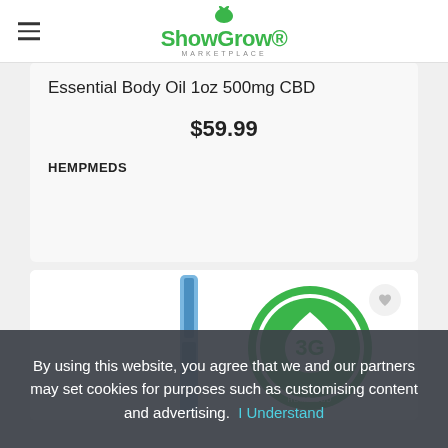ShowGrow Marketplace
Essential Body Oil 1oz 500mg CBD
$59.99
HEMPMEDS
[Figure (photo): Product image with green 3G badge and a vape pen/cartridge]
By using this website, you agree that we and our partners may set cookies for purposes such as customising content and advertising.  I Understand